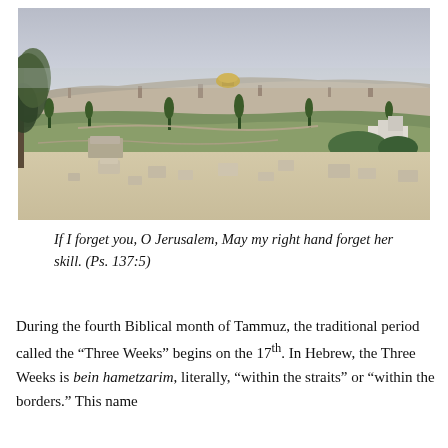[Figure (photo): Aerial/panoramic view of Jerusalem from the Mount of Olives, showing the Dome of the Rock in the background and a hillside cemetery with stone graves in the foreground, with olive trees visible on the left.]
If I forget you, O Jerusalem, May my right hand forget her skill. (Ps. 137:5)
During the fourth Biblical month of Tammuz, the traditional period called the “Three Weeks” begins on the 17th. In Hebrew, the Three Weeks is bein hametzarim, literally, “within the straits” or “within the borders.” This name